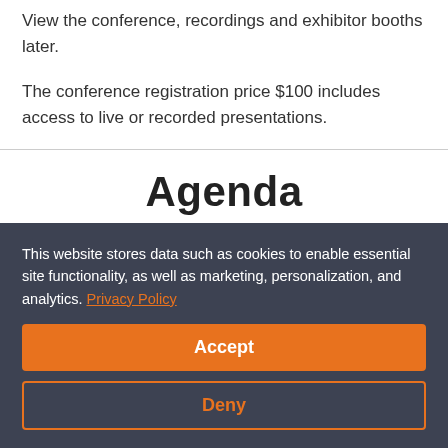View the conference, recordings and exhibitor booths later.
The conference registration price $100 includes access to live or recorded presentations.
Agenda
7th December, 2021
This website stores data such as cookies to enable essential site functionality, as well as marketing, personalization, and analytics. Privacy Policy
Accept
Deny